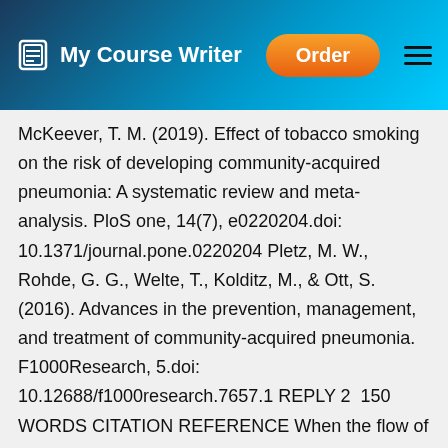My Course Writer — Order
McKeever, T. M. (2019). Effect of tobacco smoking on the risk of developing community-acquired pneumonia: A systematic review and meta-analysis. PloS one, 14(7), e0220204.doi: 10.1371/journal.pone.0220204 Pletz, M. W., Rohde, G. G., Welte, T., Kolditz, M., & Ott, S. (2016). Advances in the prevention, management, and treatment of community-acquired pneumonia. F1000Research, 5.doi: 10.12688/f1000research.7657.1 REPLY 2  150 WORDS CITATION REFERENCE When the flow of blood to the heart is blocked, it leads to a heart problem like a heart attack. A gradual build-up of fatty streaks (plaque) form in the coronary arteries, which often leads to heart blockage, form a plaque in the